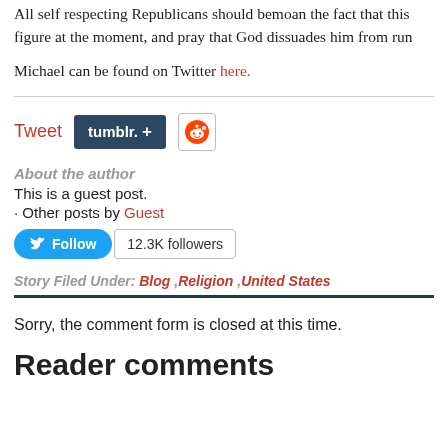All self respecting Republicans should bemoan the fact that this figure at the moment, and pray that God dissuades him from run
Michael can be found on Twitter here.
[Figure (infographic): Social sharing buttons: Tweet (red), Tumblr (dark blue with plus), Reddit alien icon]
About the author
This is a guest post.
· Other posts by Guest
[Figure (infographic): Twitter Follow button (blue) and 12.3K followers badge]
Story Filed Under: Blog ,Religion ,United States
Sorry, the comment form is closed at this time.
Reader comments